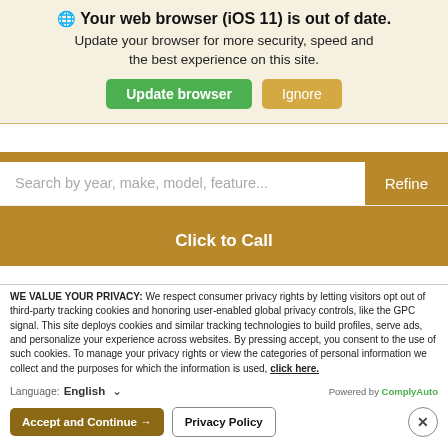Your web browser (iOS 11) is out of date.
Update your browser for more security, speed and the best experience on this site.
Update browser | Ignore
[Figure (screenshot): Gold search bar with search input field and Refine button, Click to Call button below]
WE VALUE YOUR PRIVACY: We respect consumer privacy rights by letting visitors opt out of third-party tracking cookies and honoring user-enabled global privacy controls, like the GPC signal. This site deploys cookies and similar tracking technologies to build profiles, serve ads, and personalize your experience across websites. By pressing accept, you consent to the use of such cookies. To manage your privacy rights or view the categories of personal information we collect and the purposes for which the information is used, click here.
Language: English ∨  Powered by ComplyAuto
Accept and Continue → | Privacy Policy | ×